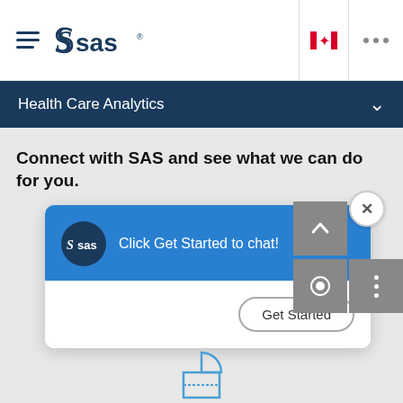SAS - Health Care Analytics
Health Care Analytics
Connect with SAS and see what we can do for you.
[Figure (screenshot): SAS chat popup widget with blue header showing SAS logo and text 'Click Get Started to chat!' with a 'Get Started' button below and a close (X) button]
[Figure (infographic): Partial pie chart icon at bottom of page]